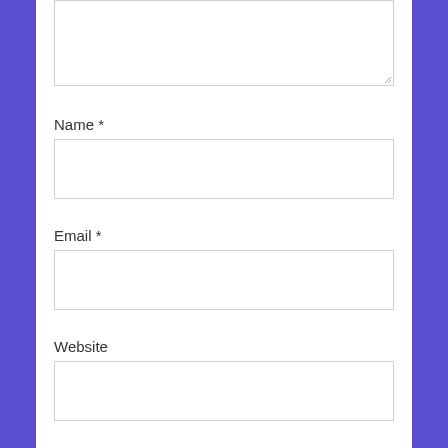[Figure (screenshot): Top portion of a web comment form showing a textarea (partially visible at top), then labeled input fields for Name, Email, and Website, followed by a checkbox and partial text 'Save my name, email, and website in this'. The page has a purple sidebar on both sides with a white content area in the center.]
Name *
Email *
Website
Save my name, email, and website in this